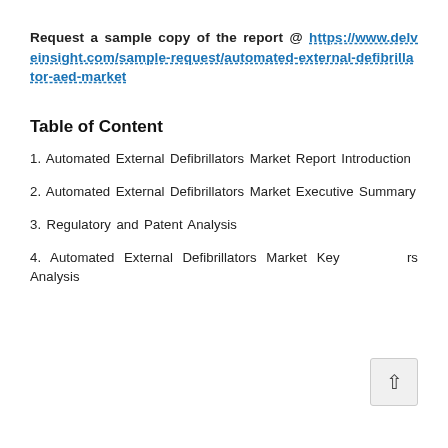Request a sample copy of the report @ https://www.delveinsight.com/sample-request/automated-external-defibrillator-aed-market
Table of Content
1. Automated External Defibrillators Market Report Introduction
2. Automated External Defibrillators Market Executive Summary
3. Regulatory and Patent Analysis
4. Automated External Defibrillators Market Key Competitors Analysis